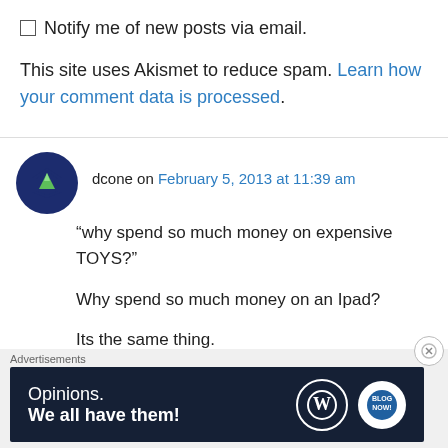Notify me of new posts via email.
This site uses Akismet to reduce spam. Learn how your comment data is processed.
dcone on February 5, 2013 at 11:39 am
“why spend so much money on expensive TOYS?”

Why spend so much money on an Ipad?

Its the same thing.
Advertisements
Opinions. We all have them!